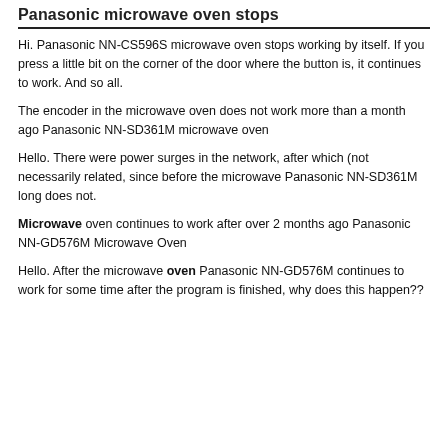Panasonic microwave oven stops
Hi. Panasonic NN-CS596S microwave oven stops working by itself. If you press a little bit on the corner of the door where the button is, it continues to work. And so all.
The encoder in the microwave oven does not work more than a month ago Panasonic NN-SD361M microwave oven
Hello. There were power surges in the network, after which (not necessarily related, since before the microwave Panasonic NN-SD361M long does not.
Microwave oven continues to work after over 2 months ago Panasonic NN-GD576M Microwave Oven
Hello. After the microwave oven Panasonic NN-GD576M continues to work for some time after the program is finished, why does this happen??